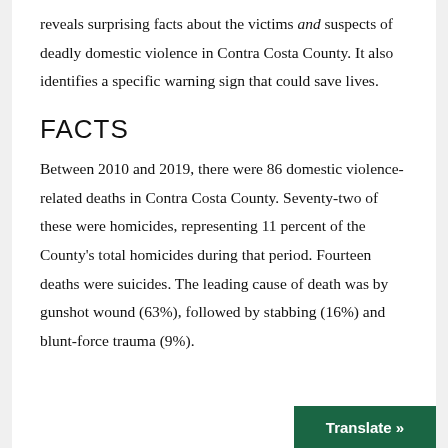reveals surprising facts about the victims and suspects of deadly domestic violence in Contra Costa County. It also identifies a specific warning sign that could save lives.
FACTS
Between 2010 and 2019, there were 86 domestic violence-related deaths in Contra Costa County. Seventy-two of these were homicides, representing 11 percent of the County's total homicides during that period. Fourteen deaths were suicides. The leading cause of death was by gunshot wound (63%), followed by stabbing (16%) and blunt-force trauma (9%).